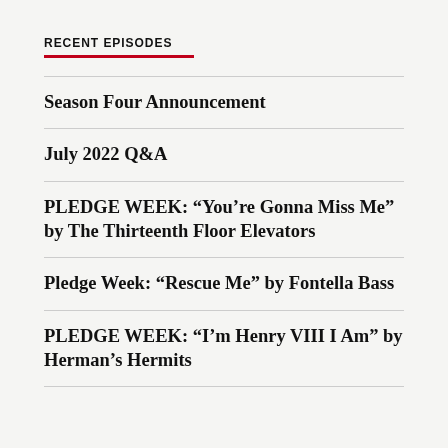RECENT EPISODES
Season Four Announcement
July 2022 Q&A
PLEDGE WEEK: “You’re Gonna Miss Me” by The Thirteenth Floor Elevators
Pledge Week: “Rescue Me” by Fontella Bass
PLEDGE WEEK: “I’m Henry VIII I Am” by Herman’s Hermits